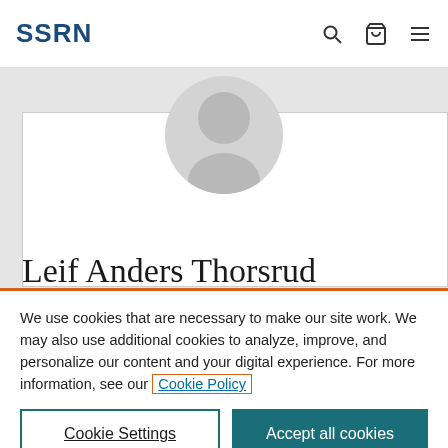SSRN
[Figure (illustration): SSRN user profile page with default avatar (silhouette of a person's head in a grey circle) on a grey background, with a white profile card partially visible]
Leif Anders Thorsrud
We use cookies that are necessary to make our site work. We may also use additional cookies to analyze, improve, and personalize our content and your digital experience. For more information, see our Cookie Policy
Cookie Settings
Accept all cookies